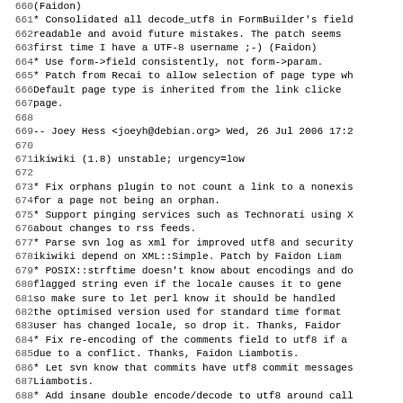Changelog/code listing fragment from ikiwiki Debian changelog, lines 660-691